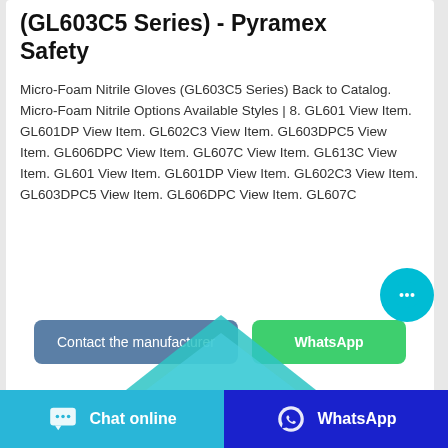(GL603C5 Series) - Pyramex Safety
Micro-Foam Nitrile Gloves (GL603C5 Series) Back to Catalog. Micro-Foam Nitrile Options Available Styles | 8. GL601 View Item. GL601DP View Item. GL602C3 View Item. GL603DPC5 View Item. GL606DPC View Item. GL607C View Item. GL613C View Item. GL601 View Item. GL601DP View Item. GL602C3 View Item. GL603DPC5 View Item. GL606DPC View Item. GL607C
[Figure (screenshot): Two buttons: 'Contact the manufacturer' (steel blue) and 'WhatsApp' (green)]
[Figure (illustration): Teal/blue triangular shape partially visible at the bottom of the card]
[Figure (infographic): Floating cyan chat bubble with three dots icon in bottom-right area]
Chat online   WhatsApp